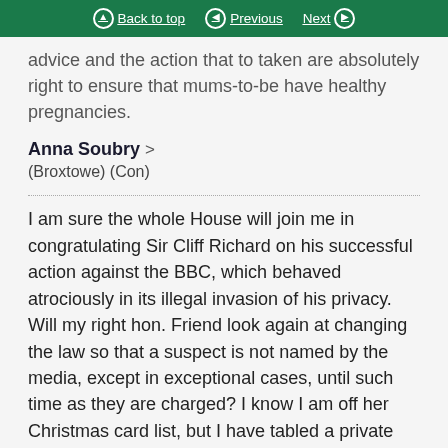Back to top | Previous | Next
advice and the action that to taken are absolutely right to ensure that mums-to-be have healthy pregnancies.
Anna Soubry
(Broxtowe) (Con)
I am sure the whole House will join me in congratulating Sir Cliff Richard on his successful action against the BBC, which behaved atrociously in its illegal invasion of his privacy. Will my right hon. Friend look again at changing the law so that a suspect is not named by the media, except in exceptional cases, until such time as they are charged? I know I am off her Christmas card list, but I have tabled a private Member's Bill that